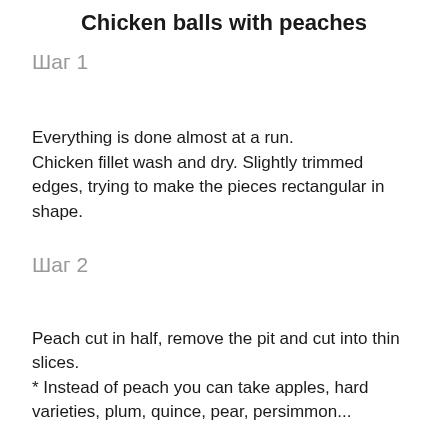Chicken balls with peaches
Шаг 1
Everything is done almost at a run.
Chicken fillet wash and dry. Slightly trimmed edges, trying to make the pieces rectangular in shape.
Шаг 2
Peach cut in half, remove the pit and cut into thin slices.
* Instead of peach you can take apples, hard varieties, plum, quince, pear, persimmon...